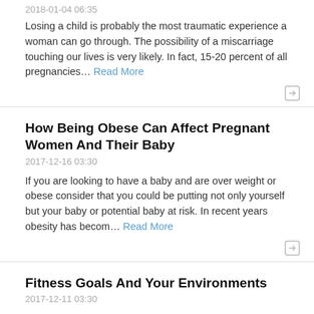2018-01-04 06:35
Losing a child is probably the most traumatic experience a woman can go through. The possibility of a miscarriage touching our lives is very likely. In fact, 15-20 percent of all pregnancies… Read More
How Being Obese Can Affect Pregnant Women And Their Baby
2017-12-16 03:30
If you are looking to have a baby and are over weight or obese consider that you could be putting not only yourself but your baby or potential baby at risk. In recent years obesity has becom… Read More
Fitness Goals And Your Environments
2017-12-11 03:30
Fitness Goals And Your Environments – Controlling the world around you in order to meet goals. If you are trying to lose weight or just get back into shape there are a few things you c… Read More